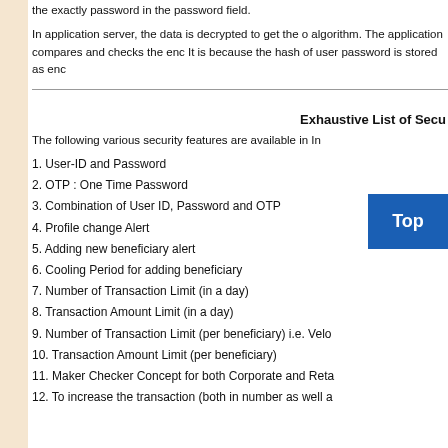the exactly password in the password field.
In application server, the data is decrypted to get the original password using the algorithm. The application compares and checks the encrypted password stored. It is because the hash of user password is stored as encrypted form.
Exhaustive List of Secu
The following various security features are available in In
1. User-ID and Password
2. OTP : One Time Password
3. Combination of User ID, Password and OTP
4. Profile change Alert
5. Adding new beneficiary alert
6. Cooling Period for adding beneficiary
7. Number of Transaction Limit (in a day)
8. Transaction Amount Limit (in a day)
9. Number of Transaction Limit (per beneficiary) i.e. Velo
10. Transaction Amount Limit (per beneficiary)
11. Maker Checker Concept for both Corporate and Reta
12. To increase the transaction (both in number as well a